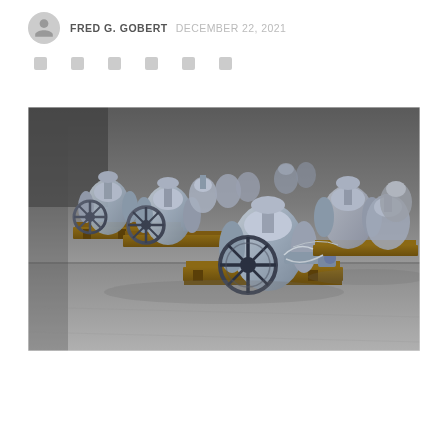FRED G. GOBERT   DECEMBER 22, 2021
[Figure (photo): Industrial gate valves and piping assemblies stacked on wooden pallets in a warehouse or factory floor. Multiple large cast iron/steel valves with handwheels visible, arranged on wooden shipping pallets.]